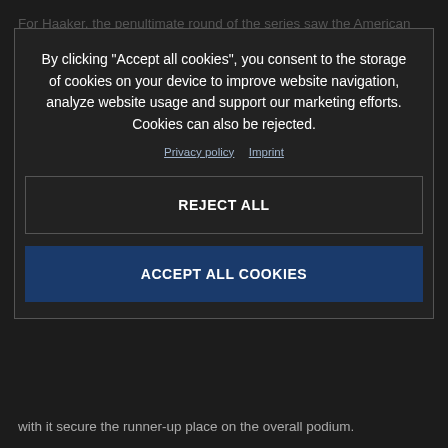For Haaker, the penultimate round of the series saw the American deliver his best result of the season to date. Up for... s... en... one, moving into second... and holding it for the remainder of the race, made me see him lead the majority of proceedings. He also set out front, to contain him to keep teammate Bolt at bay. But with two laps to go Billy found a way through and Haaker could settle for second.
By clicking “Accept all cookies”, you consent to the storage of cookies on your device to improve website navigation, analyze website usage and support our marketing efforts. Cookies can also be rejected.
Privacy policy  Imprint
REJECT ALL
ACCEPT ALL COOKIES
with it secure the runner-up place on the overall podium.